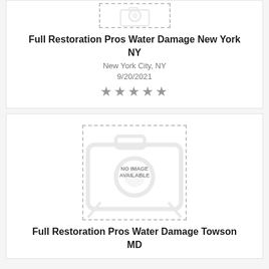[Figure (other): No image available placeholder - top card (partially visible)]
Full Restoration Pros Water Damage New York NY
New York City, NY
9/20/2021
★★★★★
[Figure (other): No image available placeholder - second card]
Full Restoration Pros Water Damage Towson MD